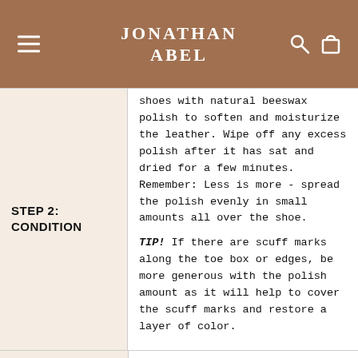JONATHAN ABEL
shoes with natural beeswax polish to soften and moisturize the leather. Wipe off any excess polish after it has sat and dried for a few minutes. Remember: Less is more - spread the polish evenly in small amounts all over the shoe.
STEP 2: CONDITION
TIP! If there are scuff marks along the toe box or edges, be more generous with the polish amount as it will help to cover the scuff marks and restore a layer of color.
Color and shine is after...